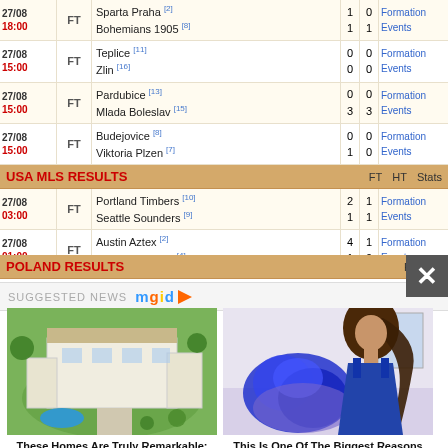| Date/Time | Status | Teams | FT | HT | Links |
| --- | --- | --- | --- | --- | --- |
| 27/08 18:00 | FT | Sparta Praha [2] / Bohemians 1905 [8] | 1/1 | 0/1 | Formation Events |
| 27/08 15:00 | FT | Teplice [11] / Zlin [16] | 0/0 | 0/0 | Formation Events |
| 27/08 15:00 | FT | Pardubice [13] / Mlada Boleslav [15] | 0/3 | 0/3 | Formation Events |
| 27/08 15:00 | FT | Budejovice [8] / Viktoria Plzen [7] | 0/1 | 0/0 | Formation Events |
| 27/08 15:00 | FT | FK Baumit Jablonec [34] / Banik Ostrava [10] | 1/1 | 0/0 | Formation Events |
USA MLS RESULTS
| Date/Time | Status | Teams | FT | HT | Links |
| --- | --- | --- | --- | --- | --- |
| 27/08 03:00 | FT | Portland Timbers [10] / Seattle Sounders [9] | 2/1 | 1/1 | Formation Events |
| 27/08 01:00 | FT | Austin Aztex [2] / Los Angeles FC [4] | 4/1 | 1/0 | Formation Events |
POLAND RESULTS
SUGGESTED NEWS
[Figure (photo): Aerial view of a large luxury celebrity house with pool and green grounds]
These Homes Are Truly Remarkable: Most Expensive Celebrity Houses
[Figure (photo): Woman with long brown hair holding large blue flower bouquet]
This Is One Of The Biggest Reasons Guys Get Scared To Commit